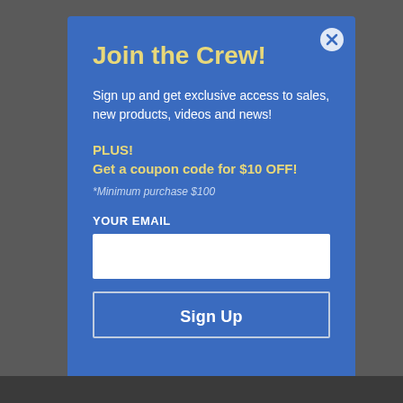Join the Crew!
Sign up and get exclusive access to sales, new products, videos and news!
PLUS!
Get a coupon code for $10 OFF!
*Minimum purchase $100
YOUR EMAIL
Sign Up